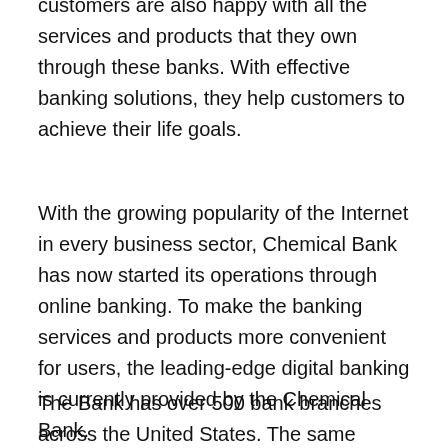customers are also happy with all the services and products that they own through these banks. With effective banking solutions, they help customers to achieve their life goals.
With the growing popularity of the Internet in every business sector, Chemical Bank has now started its operations through online banking. To make the banking services and products more convenient for users, the leading-edge digital banking is currently provided by the Chemical Bank.
The Bank has over 500 bank branches across the United States. The same company is running a list of different businesses across 50 states of the United States, especially in business and banking...